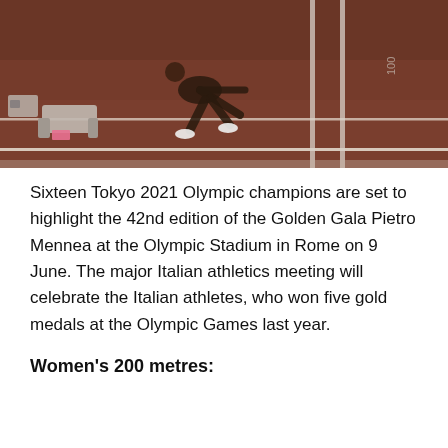[Figure (photo): Athlete at starting blocks on a track, viewed from above. Reddish-brown track surface visible with white lane lines. A starting block device is visible on the left. The athlete is crouched in starting position wearing white shoes.]
Sixteen Tokyo 2021 Olympic champions are set to highlight the 42nd edition of the Golden Gala Pietro Mennea at the Olympic Stadium in Rome on 9 June. The major Italian athletics meeting will celebrate the Italian athletes, who won five gold medals at the Olympic Games last year.
Women's 200 metres: